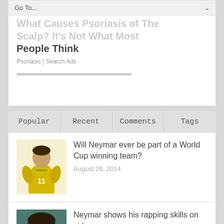Go To...
What Causes Psoriasis of The Scalp? It's Not What Most People Think
Psoriasis | Search Ads
Popular | Recent | Comments | Tags
[Figure (photo): Soccer player in yellow Brazil jersey]
Will Neymar ever be part of a World Cup winning team?
August 26, 2014
[Figure (photo): Close-up of a young man's face]
Neymar shows his rapping skills on video
August 27, 2014